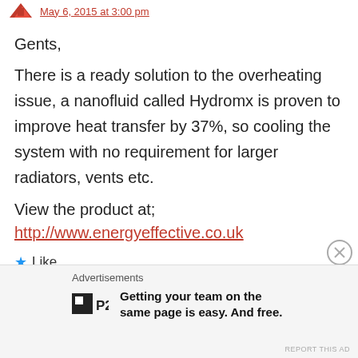May 6, 2015 at 3:00 pm
Gents,
There is a ready solution to the overheating issue, a nanofluid called Hydromx is proven to improve heat transfer by 37%, so cooling the system with no requirement for larger radiators, vents etc.
View the product at;
http://www.energyeffective.co.uk
Like
Reply
Advertisements
Getting your team on the same page is easy. And free.